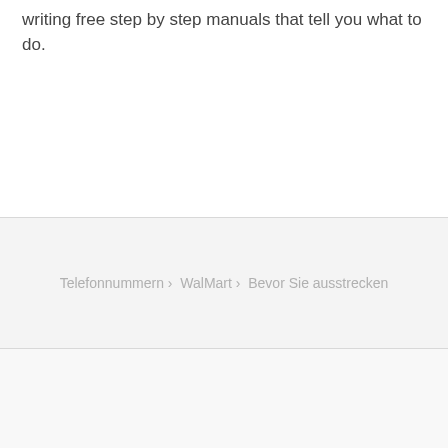writing free step by step manuals that tell you what to do.
Telefonnummern › WalMart › Bevor Sie ausstrecken